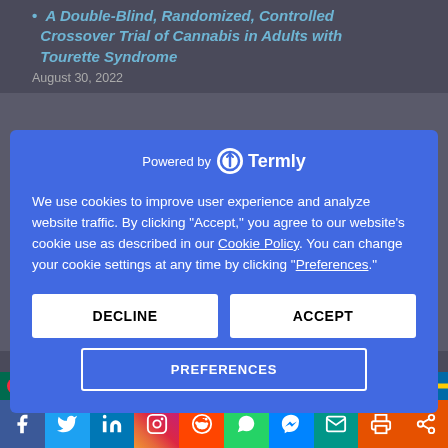A Double-Blind, Randomized, Controlled Crossover Trial of Cannabis in Adults with Tourette Syndrome
August 30, 2022
[Figure (screenshot): Termly cookie consent popup overlay on a blue background. Contains 'Powered by Termly' header, cookie usage text, Cookie Policy and Preferences links, DECLINE and ACCEPT buttons, and a PREFERENCES button.]
Methods: In a [...]
Elia Abi-Jaoude...
[Figure (infographic): Row of country flag icons for language selection (Bangladesh, China, Taiwan, UK, France, Germany, India, Italy, Japan, South Korea, Portugal/India, Russia, Spain, Sweden, India)]
[Figure (infographic): Social sharing bar with icons: Facebook (blue), Twitter (cyan), LinkedIn (blue), Instagram (pink/orange), Reddit (orange), WhatsApp (green), Messenger (blue), Email (teal), Print (orange), Share (orange)]